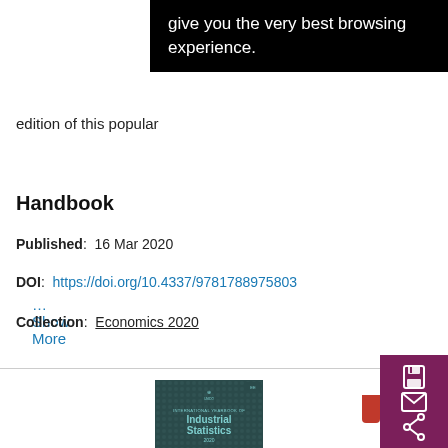give you the very best browsing experience.
edition of this popular
... Show More
Handbook
Published:  16 Mar 2020
DOI:  https://doi.org/10.4337/9781788975803
Collection:  Economics 2020
[Figure (photo): Book cover of International Yearbook of Industrial Statistics 2020]